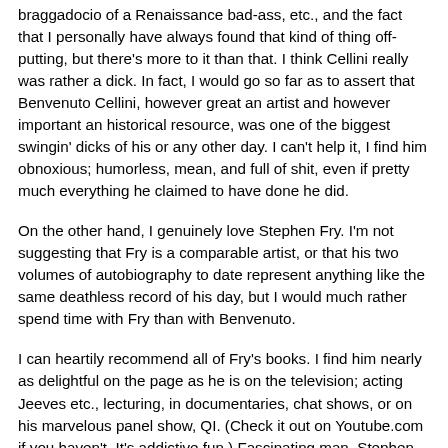braggadocio of a Renaissance bad-ass, etc., and the fact that I personally have always found that kind of thing off-putting, but there's more to it than that. I think Cellini really was rather a dick. In fact, I would go so far as to assert that Benvenuto Cellini, however great an artist and however important an historical resource, was one of the biggest swingin' dicks of his or any other day. I can't help it, I find him obnoxious; humorless, mean, and full of shit, even if pretty much everything he claimed to have done he did.
On the other hand, I genuinely love Stephen Fry. I'm not suggesting that Fry is a comparable artist, or that his two volumes of autobiography to date represent anything like the same deathless record of his day, but I would much rather spend time with Fry than with Benvenuto.
I can heartily recommend all of Fry's books. I find him nearly as delightful on the page as he is on the television; acting Jeeves etc., lecturing, in documentaries, chat shows, or on his marvelous panel show, QI. (Check it out on Youtube.com if you haven't. It's addictive fun.) Fascinating man, Stephen Fry, and a very interesting life he's led, may I just say. This